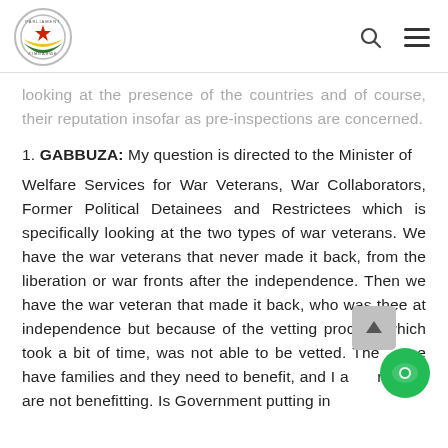Parliament of Zimbabwe logo, search icon, menu icon
looking at the presence of the countries and of course, their reputation insofar as pre-inspections are concerned.
1. GABBUZA: My question is directed to the Minister of Welfare Services for War Veterans, War Collaborators, Former Political Detainees and Restrictees which is specifically looking at the two types of war veterans. We have the war veterans that never made it back, from the liberation or war fronts after the independence. Then we have the war veteran that made it back, who was there at independence but because of the vetting process which took a bit of time, was not able to be vetted. They have families and they need to benefit, and I am sure they are not benefitting. Is Government putting in